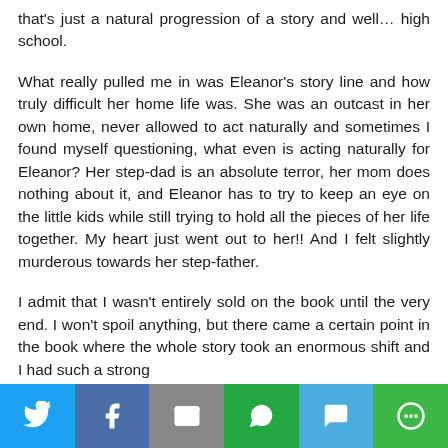that's just a natural progression of a story and well… high school.
What really pulled me in was Eleanor's story line and how truly difficult her home life was. She was an outcast in her own home, never allowed to act naturally and sometimes I found myself questioning, what even is acting naturally for Eleanor? Her step-dad is an absolute terror, her mom does nothing about it, and Eleanor has to try to keep an eye on the little kids while still trying to hold all the pieces of her life together. My heart just went out to her!! And I felt slightly murderous towards her step-father.
I admit that I wasn't entirely sold on the book until the very end. I won't spoil anything, but there came a certain point in the book where the whole story took an enormous shift and I had such a strong
Social share bar with Twitter, Facebook, Email, WhatsApp, SMS, More buttons